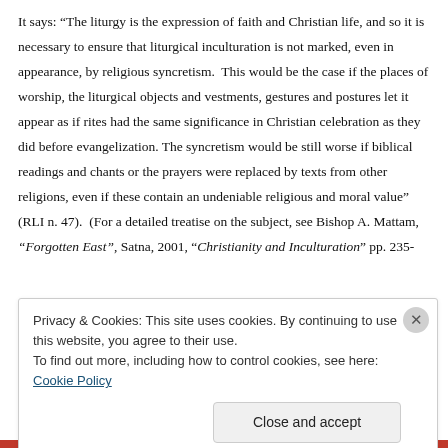It says: “The liturgy is the expression of faith and Christian life, and so it is necessary to ensure that liturgical inculturation is not marked, even in appearance, by religious syncretism.  This would be the case if the places of worship, the liturgical objects and vestments, gestures and postures let it appear as if rites had the same significance in Christian celebration as they did before evangelization. The syncretism would be still worse if biblical readings and chants or the prayers were replaced by texts from other religions, even if these contain an undeniable religious and moral value” (RLI n. 47).  (For a detailed treatise on the subject, see Bishop A. Mattam, “Forgotten East”, Satna, 2001, “Christianity and Inculturation” pp. 235-
Privacy & Cookies: This site uses cookies. By continuing to use this website, you agree to their use.
To find out more, including how to control cookies, see here: Cookie Policy